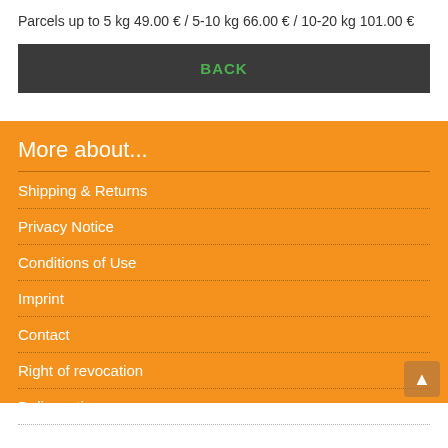Parcels up to 5 kg 49.00 € / 5-10 kg 66.00 € / 10-20 kg 101.00 €
BACK
More about...
Shipping & Returns
Privacy Notice
Conditions of Use
Imprint
Contact
Right of revocation
Delivery time
Shipping Restrictions